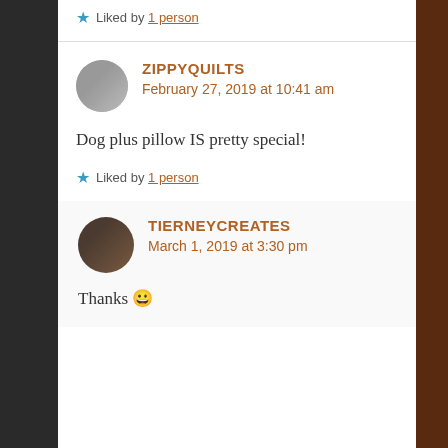★ Liked by 1 person
ZIPPYQUILTS
February 27, 2019 at 10:41 am
Dog plus pillow IS pretty special!
★ Liked by 1 person
TIERNEYCREATES
March 1, 2019 at 3:30 pm
Thanks 😀